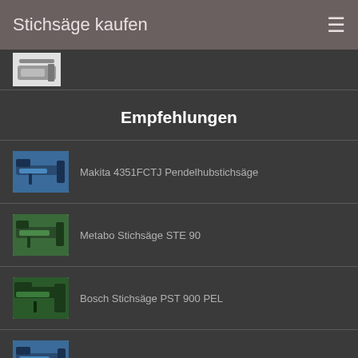Stichsäge kaufen
[Figure (photo): Partial thumbnail of a jigsaw tool at top of page]
Empfehlungen
Makita 4351FCTJ Pendelhubstichsäge
Metabo Stichsäge STE 90
Bosch Stichsäge PST 900 PEL
Bosch GST 150 CE Professional Stichsäge
Makita JV0600J Pendelhubstichsäge